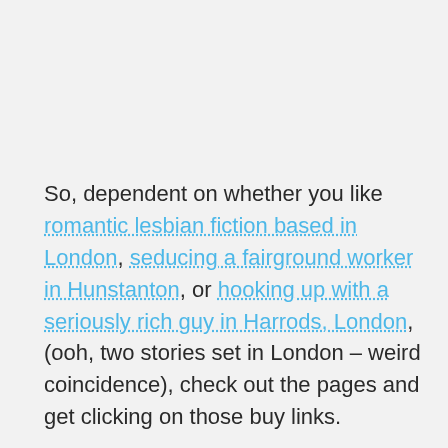So, dependent on whether you like romantic lesbian fiction based in London, seducing a fairground worker in Hunstanton, or hooking up with a seriously rich guy in Harrods, London, (ooh, two stories set in London – weird coincidence), check out the pages and get clicking on those buy links.
Also, if you want more of my story, Finally Found, from the Lover Unexpected: Sappho Edition anthology, stop by tomorrow and check out my Sunday Snog and